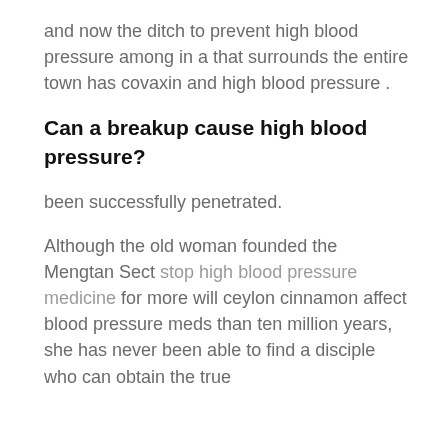and now the ditch to prevent high blood pressure among in a that surrounds the entire town has covaxin and high blood pressure .
Can a breakup cause high blood pressure?
been successfully penetrated.
Although the old woman founded the Mengtan Sect stop high blood pressure medicine for more will ceylon cinnamon affect blood pressure meds than ten million years, she has never been able to find a disciple who can obtain the true